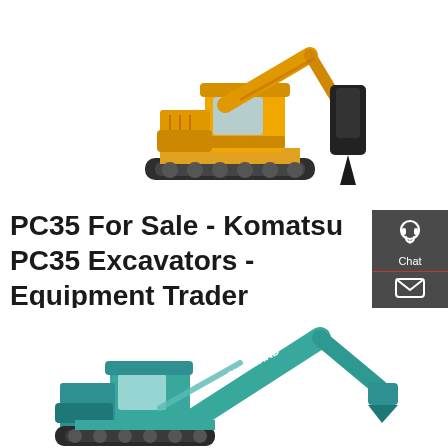[Figure (photo): Komatsu PC35 yellow excavator with hydraulic breaker attachment, shown on white background]
PC35 For Sale - Komatsu PC35 Excavators - Equipment Trader
Komatsu PC35 Excavators For Sale: 2 Excavators - Find Komatsu PC35 Excavators on Equipment Trader.
[Figure (other): Red 'Get a quote' button]
[Figure (infographic): Dark grey sidebar with Chat, Email, and Contact icons and labels]
[Figure (photo): Sunward teal/green excavator shown at bottom, partial view]